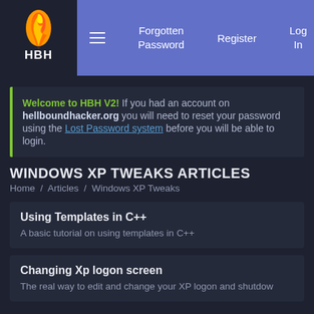HBH | Forgotten Password | Register | Log In
Welcome to HBH V2! If you had an account on hellboundhacker.org you will need to reset your password using the Lost Password system before you will be able to login.
WINDOWS XP TWEAKS ARTICLES
Home / Articles / Windows XP Tweaks
Using Templates in C++
A basic tutorial on using templates in C++
Changing Xp logon screen
The real way to edit and change your XP logon and shutdow